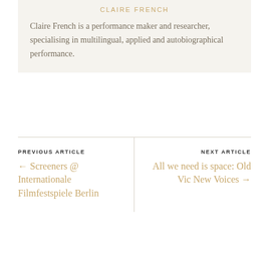CLAIRE FRENCH
Claire French is a performance maker and researcher, specialising in multilingual, applied and autobiographical performance.
PREVIOUS ARTICLE
← Screeners @ Internationale Filmfestspiele Berlin
NEXT ARTICLE
All we need is space: Old Vic New Voices →